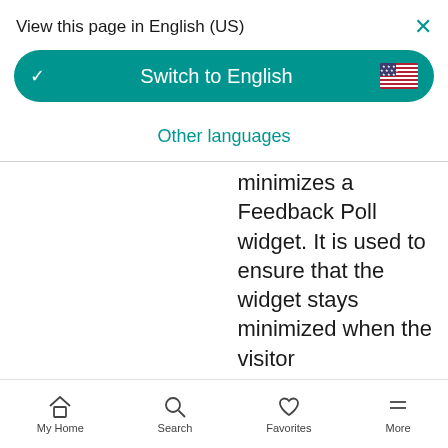View this page in English (US)
Switch to English
Other languages
minimizes a Feedback Poll widget. It is used to ensure that the widget stays minimized when the visitor
My Home  Search  Favorites  More